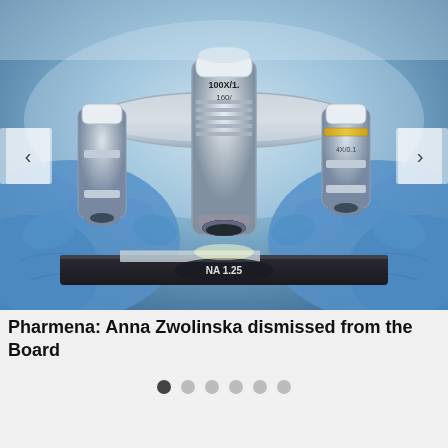[Figure (photo): Close-up photograph of a microscope objective lens turret with multiple objectives including one labeled 100X/1.25 and NA 1.25, held by gloved hands in blue latex gloves on a dark microscope stage. The image has a cool blue toned color palette.]
Pharmena: Anna Zwolinska dismissed from the Board